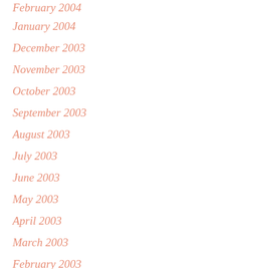February 2004
January 2004
December 2003
November 2003
October 2003
September 2003
August 2003
July 2003
June 2003
May 2003
April 2003
March 2003
February 2003
January 2003
December 2002